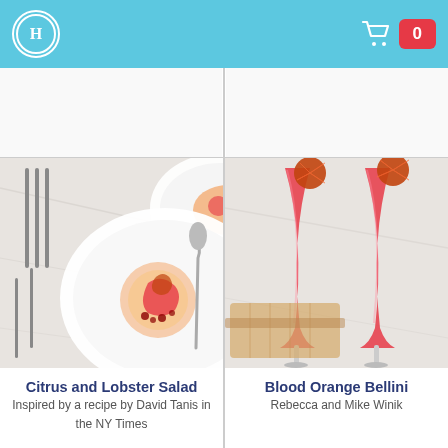Header with logo and cart (0)
[Figure (photo): Citrus and Lobster Salad dish in a white bowl on a marble table with cutlery]
Citrus and Lobster Salad
Inspired by a recipe by David Tanis in the NY Times
[Figure (photo): Two Blood Orange Bellini drinks in champagne flutes garnished with blood orange slices, with sliced bread on a marble surface]
Blood Orange Bellini
Rebecca and Mike Winik